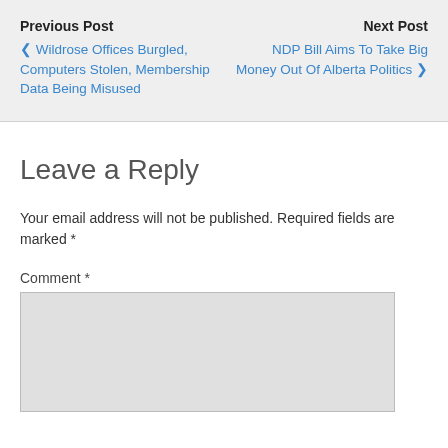Previous Post
‹ Wildrose Offices Burgled, Computers Stolen, Membership Data Being Misused
Next Post
NDP Bill Aims To Take Big Money Out Of Alberta Politics ›
Leave a Reply
Your email address will not be published. Required fields are marked *
Comment *